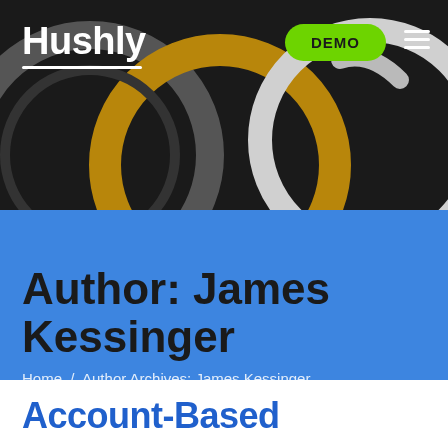Hushly
[Figure (screenshot): Hushly website header with dark background, decorative abstract circles in grey, gold, and white, logo text 'Hushly' with underline on left, green 'DEMO' pill button and hamburger menu icon on right]
Author: James Kessinger
Home / Author Archives: James Kessinger
Account-Based